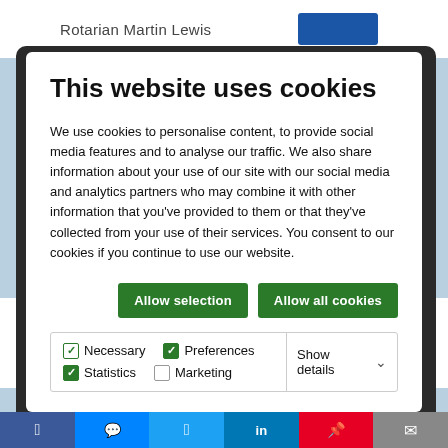Rotarian Martin Lewis
This website uses cookies
We use cookies to personalise content, to provide social media features and to analyse our traffic. We also share information about your use of our site with our social media and analytics partners who may combine it with other information that you've provided to them or that they've collected from your use of their services. You consent to our cookies if you continue to use our website.
Allow selection | Allow all cookies
Necessary  Preferences  Statistics  Marketing  Show details
Final 2019
Oliver Simpson from District
Facebook  Messenger  Twitter  LinkedIn  Pinterest  Email